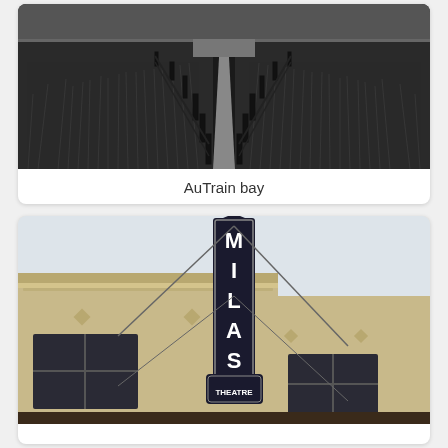[Figure (photo): Black and white photograph of a path or road through tall grasses or marshland with wooden fence posts on each side, vanishing into the distance toward a flat horizon. AuTrain bay.]
AuTrain bay
[Figure (photo): Color photograph of a brick building exterior with a tall vertical neon sign reading 'MILAS THEATRE'. The building has ornate cornice detailing and large multi-pane windows.]